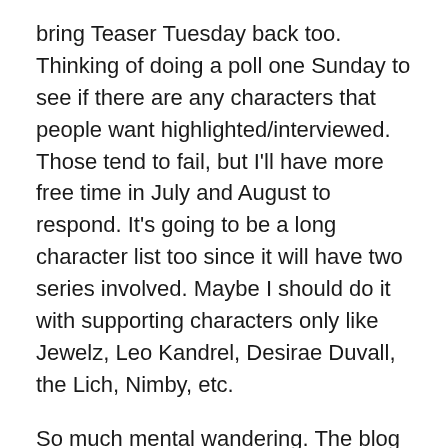bring Teaser Tuesday back too.  Thinking of doing a poll one Sunday to see if there are any characters that people want highlighted/interviewed.  Those tend to fail, but I'll have more free time in July and August to respond.  It's going to be a long character list too since it will have two series involved.  Maybe I should do it with supporting characters only like Jewelz, Leo Kandrel, Desirae Duvall, the Lich, Nimby, etc.
So much mental wandering.  The blog typing is jerky too.  I mean that the letters appear slower than they should as I type them.  It kicked in halfway through writing this post, which is frustrating.  Do I have something set up for tomorrow?  Maybe I should call it a day on this and get to biking.  Haven't had breakfast yet, so I'm hungry too.
A final strange note: After a few weeks of nothing, I ended